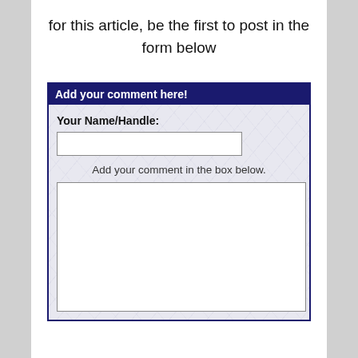for this article, be the first to post in the form below
[Figure (screenshot): A web comment form with a dark navy header labeled 'Add your comment here!', a marble-texture body containing a 'Your Name/Handle:' text input field and an 'Add your comment in the box below.' label above a large white textarea.]